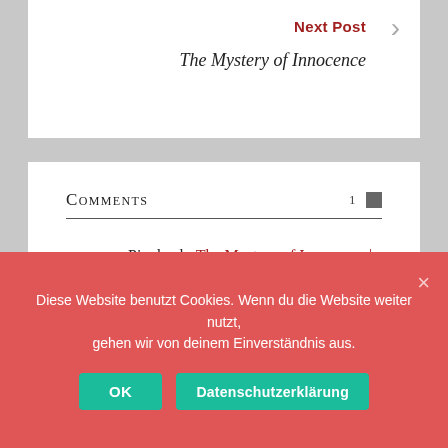Next Post
The Mystery of Innocence
Comments
Pingback: The Mystery of Innocence | Utopiensammlerin
Kommentar verfassen
Privacy & Cookies: This site uses cookies. By continuing to use this website, you agree to their use.
To find out more, including how to control cookies, see here: Cookie Policy
Diese Website benutzt Cookies. Wenn du die Website weiter nutzt, gehen wir von deinem Einverständnis aus.
OK
Datenschutzerklärung